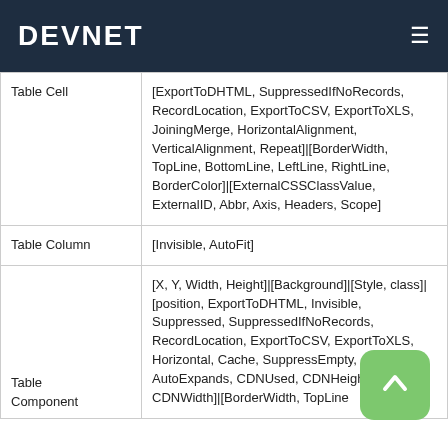DEVNET
| Component | Properties |
| --- | --- |
| Table Cell | [ExportToDHTML, SuppressedIfNoRecords, RecordLocation, ExportToCSV, ExportToXLS, JoiningMerge, HorizontalAlignment, VerticalAlignment, Repeat]|[BorderWidth, TopLine, BottomLine, LeftLine, RightLine, BorderColor]|[ExternalCSSClassValue, ExternalID, Abbr, Axis, Headers, Scope] |
| Table Column | [Invisible, AutoFit] |
| Table Component | [X, Y, Width, Height]|[Background]|[Style, class]|[position, ExportToDHTML, Invisible, Suppressed, SuppressedIfNoRecords, RecordLocation, ExportToCSV, ExportToXLS, Horizontal, Cache, SuppressEmpty, AutoExpands, CDNUsed, CDNHeight, CDNWidth]|[BorderWidth, TopLine, ... |